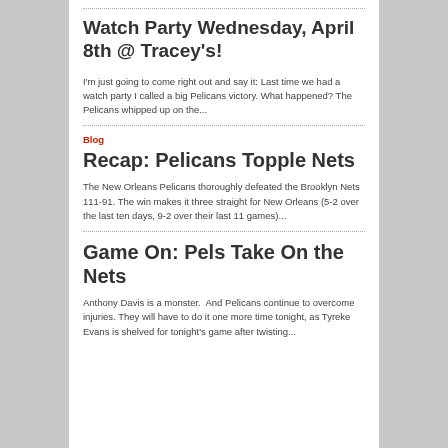Watch Party Wednesday, April 8th @ Tracey's!
I'm just going to come right out and say it: Last time we had a watch party I called a big Pelicans victory. What happened? The Pelicans whipped up on the...
Blog
Recap: Pelicans Topple Nets
The New Orleans Pelicans thoroughly defeated the Brooklyn Nets 111-91. The win makes it three straight for New Orleans (5-2 over the last ten days, 9-2 over their last 11 games)...
Game On: Pels Take On the Nets
Anthony Davis is a monster.  And Pelicans continue to overcome injuries. They will have to do it one more time tonight, as Tyreke Evans is shelved for tonight's game after twisting...